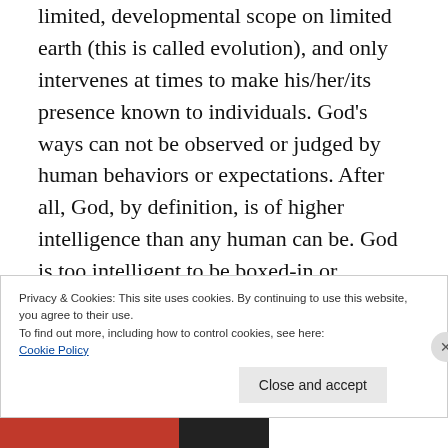limited, developmental scope on limited earth (this is called evolution), and only intervenes at times to make his/her/its presence known to individuals. God's ways can not be observed or judged by human behaviors or expectations. After all, God, by definition, is of higher intelligence than any human can be. God is too intelligent to be boxed-in or concerned by uninformed humans. Thus, development and spiritual growth is necessary but must be chosen by
Privacy & Cookies: This site uses cookies. By continuing to use this website, you agree to their use.
To find out more, including how to control cookies, see here:
Cookie Policy